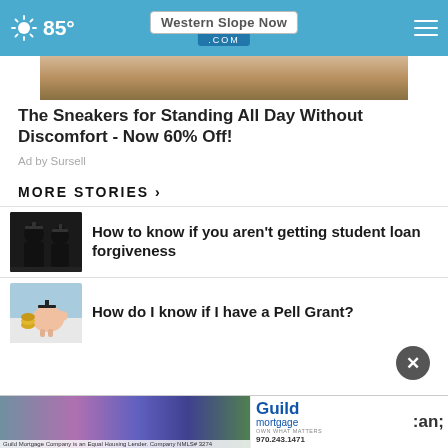85° Western Slope Now .COM
[Figure (photo): Partial view of sneakers/shoes on a surface]
The Sneakers for Standing All Day Without Discomfort - Now 60% Off!
Ad by Sursell
MORE STORIES ›
[Figure (photo): Silhouette of graduation figures]
How to know if you aren't getting student loan forgiveness
[Figure (photo): Piggy bank with graduation cap and coins]
How do I know if I have a Pell Grant?
[Figure (photo): Group photo of Guild Mortgage team]
Guild Mortgage Company is an Equal Housing Lender. Company NMLS# 3274